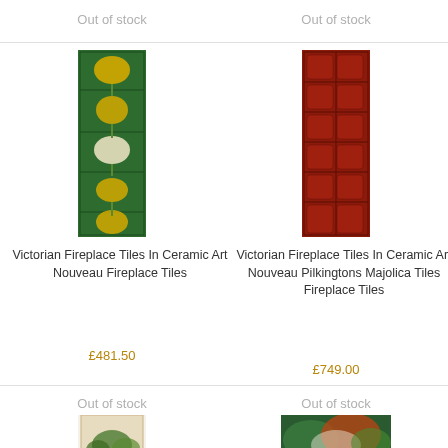Out of stock
Out of stock
[Figure (photo): Victorian fireplace tiles in green and yellow ceramic Art Nouveau design, tall narrow strip]
[Figure (photo): Victorian fireplace tiles in red ceramic Art Nouveau Pilkingtons Majolica design, tall narrow strip]
Victorian Fireplace Tiles In Ceramic Art Nouveau Fireplace Tiles
Victorian Fireplace Tiles In Ceramic Art Nouveau Pilkingtons Majolica Tiles Fireplace Tiles
£481.50
£749.00
Out of stock
Out of stock
[Figure (photo): Victorian fireplace tiles with floral design, partial view at bottom]
[Figure (photo): Victorian fireplace tiles with green and orange/red design, partial view at bottom]